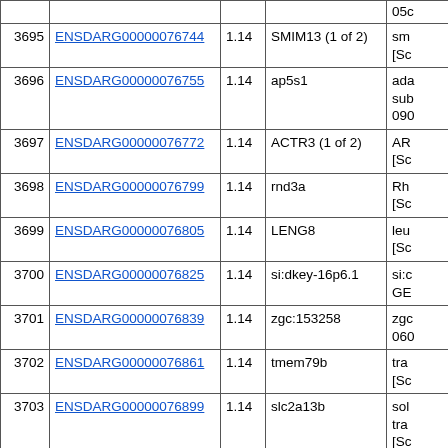|  | Gene ID | FC | Gene Name | Description |
| --- | --- | --- | --- | --- |
|  |  |  |  | 05c |
| 3695 | ENSDARG00000076744 | 1.14 | SMIM13 (1 of 2) | sm [Sc |
| 3696 | ENSDARG00000076755 | 1.14 | ap5s1 | ada sub 090 |
| 3697 | ENSDARG00000076772 | 1.14 | ACTR3 (1 of 2) | AR [Sc |
| 3698 | ENSDARG00000076799 | 1.14 | rnd3a | Rh [Sc |
| 3699 | ENSDARG00000076805 | 1.14 | LENG8 | leu [Sc |
| 3700 | ENSDARG00000076825 | 1.14 | si:dkey-16p6.1 | si:c GE |
| 3701 | ENSDARG00000076839 | 1.14 | zgc:153258 | zgc 060 |
| 3702 | ENSDARG00000076861 | 1.14 | tmem79b | tra [Sc |
| 3703 | ENSDARG00000076899 | 1.14 | slc2a13b | sol tra [Sc |
|  |  |  |  | ess |